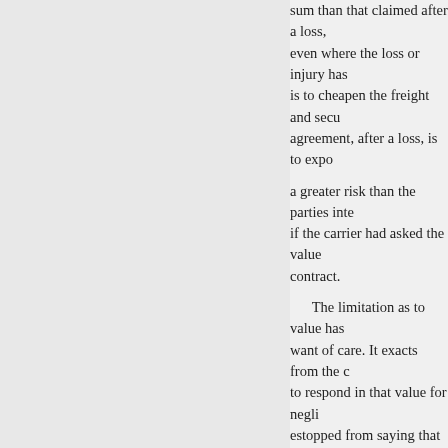sum than that claimed after a loss, even where the loss or injury has is to cheapen the freight and secu agreement, after a loss, is to expo a greater risk than the parties inte if the carrier had asked the value contract.
The limitation as to value has want of care. It exacts from the c to respond in that value for negli estopped from saying that the va. contract of transportation betwee that value. It is just and reasonab practiced on the shipper, should b be unjust and unreasonable, and freedom of contracting, and thus benefit of the contract if there is In Gibbon v. Paynton, 4 Burr. 22 a coach and lost. The plaintiff kn unless he knew what it was, but e was upheld, Lord MANSFIELD the risk of the goods and must m making him answerable for their